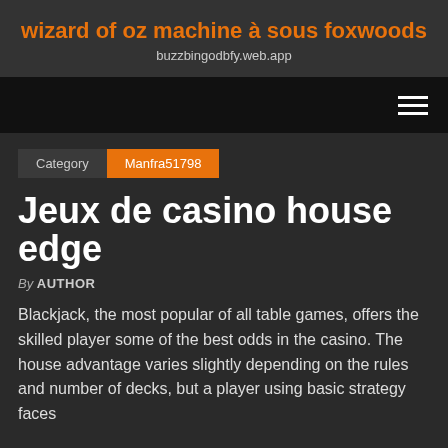wizard of oz machine à sous foxwoods
buzzbingodbfy.web.app
Jeux de casino house edge
By AUTHOR
Blackjack, the most popular of all table games, offers the skilled player some of the best odds in the casino. The house advantage varies slightly depending on the rules and number of decks, but a player using basic strategy faces